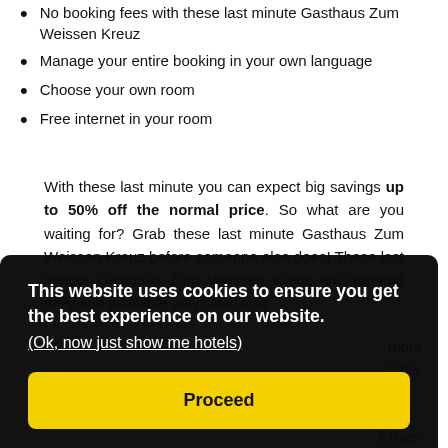No booking fees with these last minute Gasthaus Zum Weissen Kreuz
Manage your entire booking in your own language
Choose your own room
Free internet in your room
With these last minute you can expect big savings up to 50% off the normal price. So what are you waiting for? Grab these last minute Gasthaus Zum Weissen Kreuz before someone else does! These last minute Gasthaus Zum Weissen Kreuz are updated daily and available 24/7! Also visit
[Figure (screenshot): Cookie consent overlay popup with dark background. Text reads: 'This website uses cookies to ensure you get the best experience on our website.' with link '(Ok, now just show me hotels)' and a yellow 'Proceed' button.]